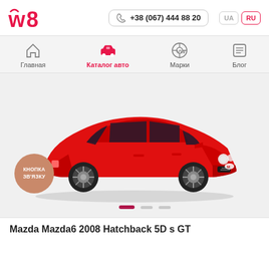[Figure (logo): w8 logo in red/pink color]
+38 (067) 444 88 20
UA  RU
[Figure (illustration): Navigation icons: home, car (Каталог авто active), VW logo (Марки), menu (Блог)]
Главная
Каталог авто
Марки
Блог
[Figure (photo): Red Mazda Mazda6 2008 Hatchback 5D s GT car image on light grey background]
КНОПКА ЗВ'ЯЗКУ
Mazda Mazda6 2008 Hatchback 5D s GT